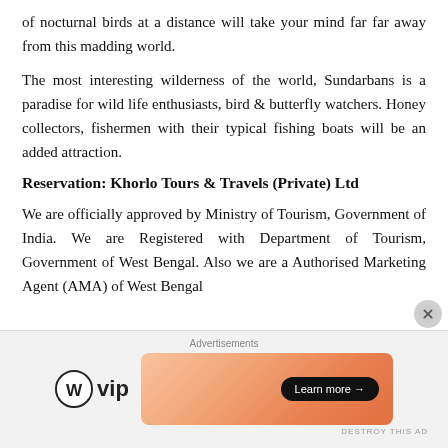of nocturnal birds at a distance will take your mind far far away from this madding world.
The most interesting wilderness of the world, Sundarbans is a paradise for wild life enthusiasts, bird & butterfly watchers. Honey collectors, fishermen with their typical fishing boats will be an added attraction.
Reservation: Khorlo Tours & Travels (Private) Ltd
We are officially approved by Ministry of Tourism, Government of India. We are Registered with Department of Tourism, Government of West Bengal. Also we are a Authorised Marketing Agent (AMA) of West Bengal
[Figure (infographic): Advertisement banner with WordPress VIP logo on the left and a gradient orange/pink Learn more button banner on the right, with Advertisements label at top]